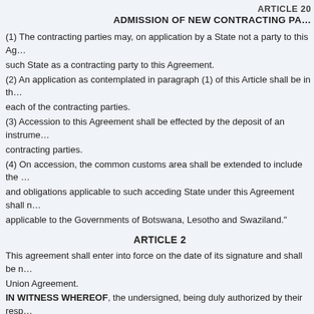ARTICLE 20
ADMISSION OF NEW CONTRACTING PA...
(1) The contracting parties may, on application by a State not a party to this Ag... such State as a contracting party to this Agreement.
(2) An application as contemplated in paragraph (1) of this Article shall be in th... each of the contracting parties.
(3) Accession to this Agreement shall be effected by the deposit of an instrume... contracting parties.
(4) On accession, the common customs area shall be extended to include the ... and obligations applicable to such acceding State under this Agreement shall n... applicable to the Governments of Botswana, Lesotho and Swaziland."
ARTICLE 2
This agreement shall enter into force on the date of its signature and shall be n... Union Agreement.
IN WITNESS WHEREOF, the undersigned, being duly authorized by their resp... Agreement.
DONE at Gaborone in quadruplicate, in the English Language, on 30 March 19...
DONE at Maseru in quadruplicate, in the English Language, on 2 April 1990.
DONE at Pretoria in quadruplicate, in the English Language, on 9 April 1990.
DONE at Mbabane in quadruplicate, in the English Language, on 29 March 19...